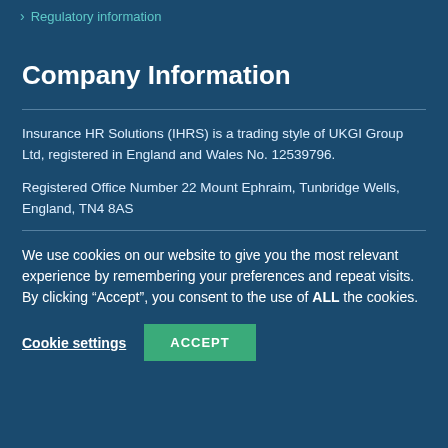Regulatory information
Company Information
Insurance HR Solutions (IHRS) is a trading style of UKGI Group Ltd, registered in England and Wales No. 12539796.
Registered Office Number 22 Mount Ephraim, Tunbridge Wells, England, TN4 8AS
We use cookies on our website to give you the most relevant experience by remembering your preferences and repeat visits. By clicking “Accept”, you consent to the use of ALL the cookies.
Cookie settings
ACCEPT